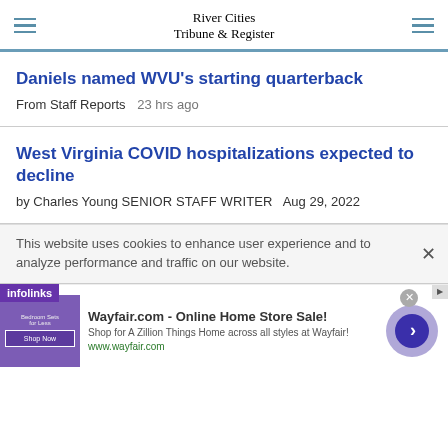River Cities Tribune & Register
Daniels named WVU's starting quarterback
From Staff Reports   23 hrs ago
West Virginia COVID hospitalizations expected to decline
by Charles Young SENIOR STAFF WRITER   Aug 29, 2022
This website uses cookies to enhance user experience and to analyze performance and traffic on our website.
[Figure (screenshot): Wayfair.com advertisement: Online Home Store Sale! Shop for A Zillion Things Home across all styles at Wayfair! www.wayfair.com]